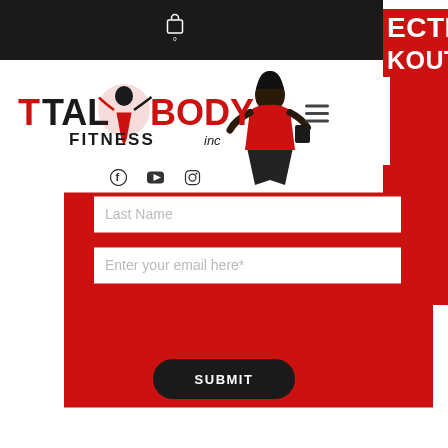[Figure (screenshot): Total Body Fitness website screenshot showing navigation bar with logo, hamburger menu, social media icons (Facebook, YouTube, Instagram), and a red registration/signup form section with Last Name and email input fields, and a black SUBMIT button at the bottom.]